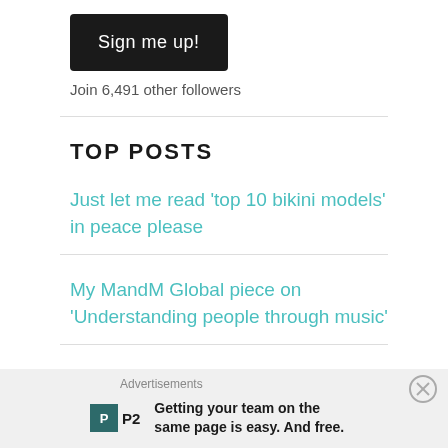Sign me up!
Join 6,491 other followers
TOP POSTS
Just let me read 'top 10 bikini models' in peace please
My MandM Global piece on 'Understanding people through music'
A few months in photos..#VivaKi
Advertisements
Getting your team on the same page is easy. And free.